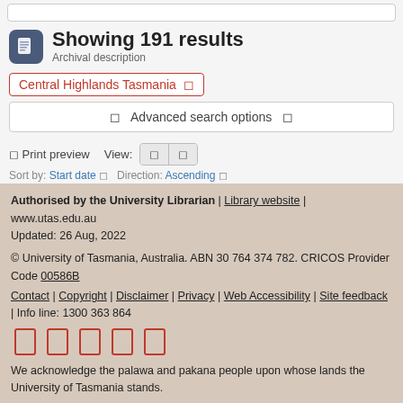Showing 191 results
Archival description
Central Highlands Tasmania ×
⊞ Advanced search options ⊟
☐ Print preview   View:
Sort by: Start date ⊟ Direction: Ascending ⊟
Authorised by the University Librarian | Library website | www.utas.edu.au
Updated: 26 Aug, 2022

© University of Tasmania, Australia. ABN 30 764 374 782. CRICOS Provider Code 00586B
Contact | Copyright | Disclaimer | Privacy | Web Accessibility | Site feedback | Info line: 1300 363 864

We acknowledge the palawa and pakana people upon whose lands the University of Tasmania stands.